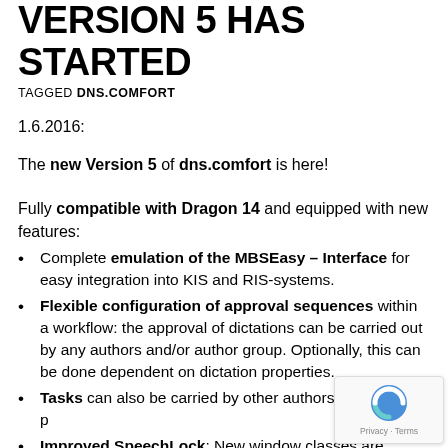VERSION 5 HAS STARTED
TAGGED DNS.COMFORT
1.6.2016:
The new Version 5 of dns.comfort is here!
Fully compatible with Dragon 14 and equipped with new features:
Complete emulation of the MBSEasy – Interface for easy integration into KIS and RIS-systems.
Flexible configuration of approval sequences within a workflow: the approval of dictations can be carried out by any authors and/or author group. Optionally, this can be done dependent on dictation properties.
Tasks can also be carried by other authors in the same p…
Improved SpeechLock: New window classes are suppo… The locked window can be set to "automatically always at the…